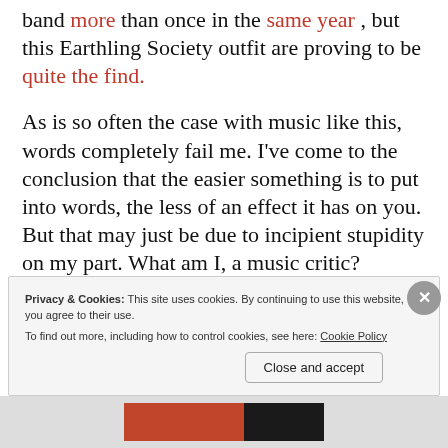band more than once in the same year , but this Earthling Society outfit are proving to be quite the find.
As is so often the case with music like this, words completely fail me. I've come to the conclusion that the easier something is to put into words, the less of an effect it has on you. But that may just be due to incipient stupidity on my part. What am I, a music critic?
Privacy & Cookies: This site uses cookies. By continuing to use this website, you agree to their use. To find out more, including how to control cookies, see here: Cookie Policy
Close and accept